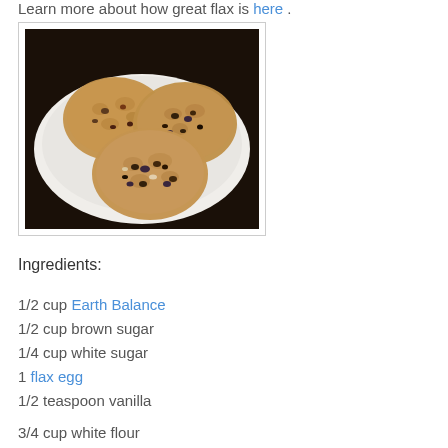Learn more about how great flax is here .
[Figure (photo): Three oatmeal cookies with chocolate chips and raisins arranged on a white plate against a dark background.]
Ingredients:
1/2 cup Earth Balance
1/2 cup brown sugar
1/4 cup white sugar
1 flax egg
1/2 teaspoon vanilla
3/4 cup white flour